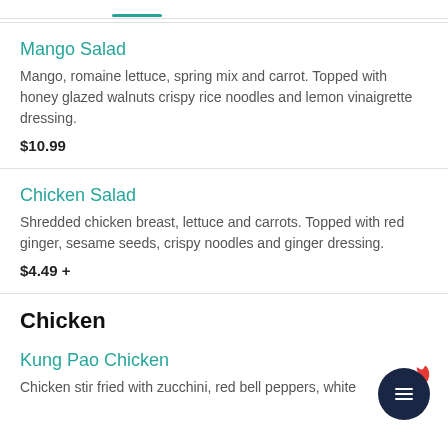Mango Salad
Mango, romaine lettuce, spring mix and carrot. Topped with honey glazed walnuts crispy rice noodles and lemon vinaigrette dressing.
$10.99
Chicken Salad
Shredded chicken breast, lettuce and carrots. Topped with red ginger, sesame seeds, crispy noodles and ginger dressing.
$4.49 +
Chicken
Kung Pao Chicken
Chicken stir fried with zucchini, red bell peppers, white